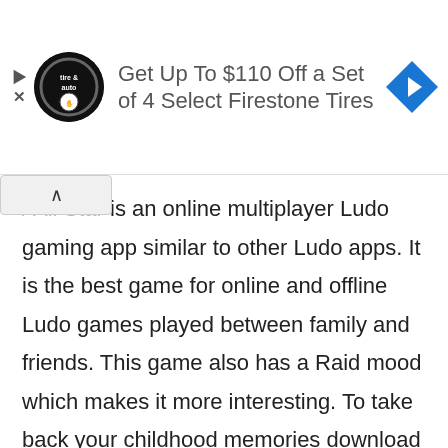[Figure (infographic): Advertisement banner: Firestone tire & auto logo on left, text 'Get Up To $110 Off a Set of 4 Select Firestone Tires', blue diamond navigation arrow icon on right]
All Star is an online multiplayer Ludo gaming app similar to other Ludo apps. It is the best game for online and offline Ludo games played between family and friends. This game also has a Raid mood which makes it more interesting. To take back your childhood memories download the Ludo All-Star on your phone.
Features:
Ludo All Star is available for Android, IOS and Windows versions